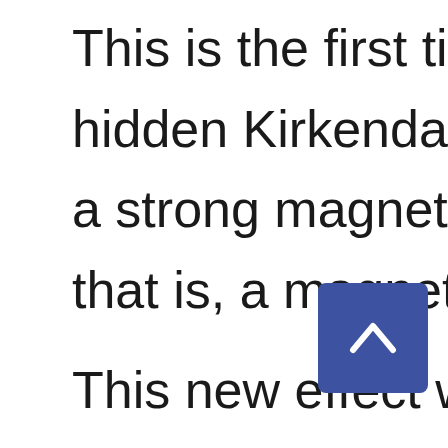This is the first time that resea hidden Kirkendall effect that c a strong magnetic field in the that is, a magnetic field induce This new effect was triggered field and then accelerated by a competing with the ori el reaction and acting together c